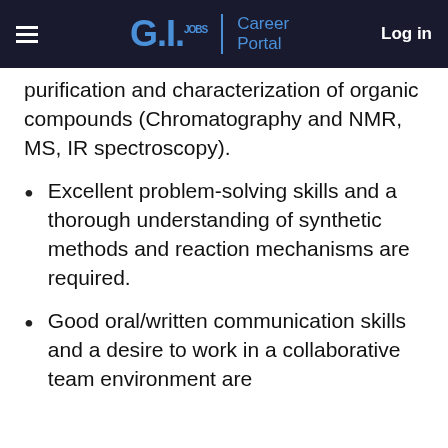G.I. JOBS | Career Portal   Log in
purification and characterization of organic compounds (Chromatography and NMR, MS, IR spectroscopy).
Excellent problem-solving skills and a thorough understanding of synthetic methods and reaction mechanisms are required.
Good oral/written communication skills and a desire to work in a collaborative team environment are